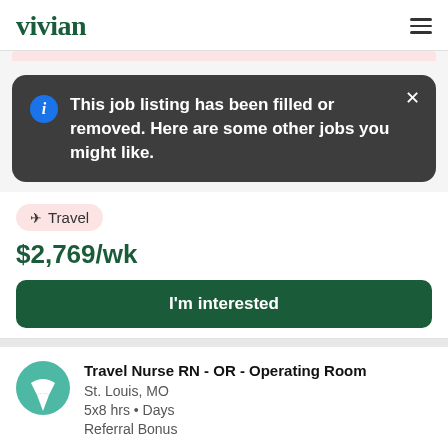vivian
This job listing has been filled or removed. Here are some other jobs you might like.
Travel
$2,769/wk
I'm interested
Travel Nurse RN - OR - Operating Room
St. Louis, MO
5x8 hrs • Days
Referral Bonus